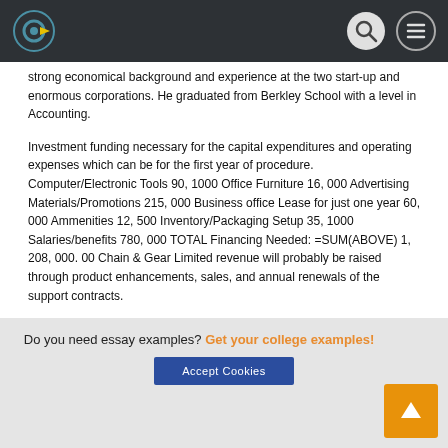Navigation bar with logo and icons
strong economical background and experience at the two start-up and enormous corporations. He graduated from Berkley School with a level in Accounting.
Investment funding necessary for the capital expenditures and operating expenses which can be for the first year of procedure. Computer/Electronic Tools 90, 1000 Office Furniture 16, 000 Advertising Materials/Promotions 215, 000 Business office Lease for just one year 60, 000 Ammenities 12, 500 Inventory/Packaging Setup 35, 1000 Salaries/benefits 780, 000 TOTAL Financing Needed: =SUM(ABOVE) 1, 208, 000. 00 Chain & Gear Limited revenue will probably be raised through product enhancements, sales, and annual renewals of the support contracts.
Do you need essay examples? Get your college examples! Accept Cookies